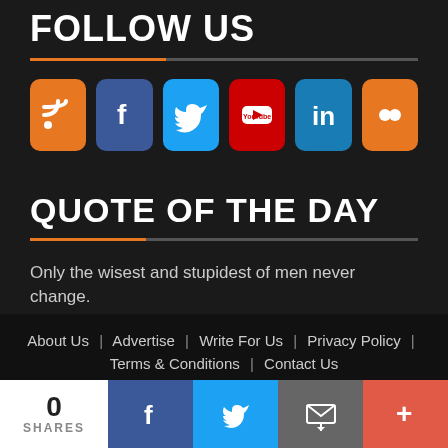FOLLOW US
[Figure (infographic): Social media icons: RSS (orange), Facebook (dark blue), Twitter (light blue), YouTube (red), LinkedIn (blue), Flickr (orange)]
QUOTE OF THE DAY
Only the wisest and stupidest of men never change.
Confucius
more Quotes
About Us | Advertise | Write For Us | Privacy Policy | Terms & Conditions | Contact Us
[Figure (infographic): Share bar at bottom: 0 SHARES count, Facebook share button, Twitter share button, Email share button, More (+) button]